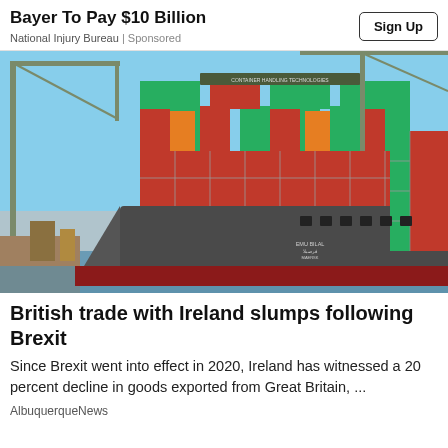Bayer To Pay $10 Billion
National Injury Bureau | Sponsored
Sign Up
[Figure (photo): Large container ship loaded with colorful shipping containers docked at a port with large cranes overhead]
British trade with Ireland slumps following Brexit
Since Brexit went into effect in 2020, Ireland has witnessed a 20 percent decline in goods exported from Great Britain, ...
AlbuquerqueNews